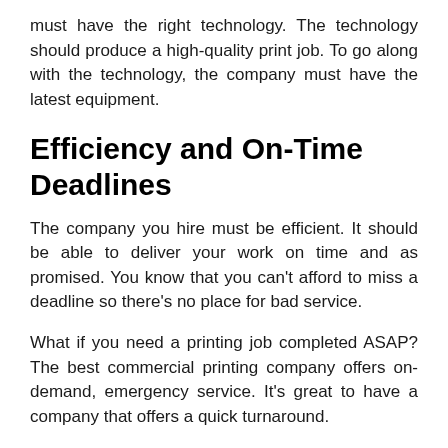must have the right technology. The technology should produce a high-quality print job. To go along with the technology, the company must have the latest equipment.
Efficiency and On-Time Deadlines
The company you hire must be efficient. It should be able to deliver your work on time and as promised. You know that you can't afford to miss a deadline so there's no place for bad service.
What if you need a printing job completed ASAP? The best commercial printing company offers on-demand, emergency service. It's great to have a company that offers a quick turnaround.
Pricing